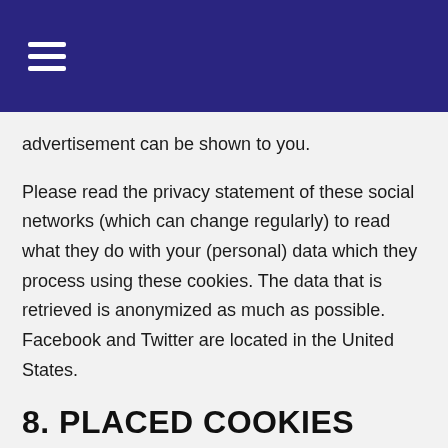≡
advertisement can be shown to you.
Please read the privacy statement of these social networks (which can change regularly) to read what they do with your (personal) data which they process using these cookies. The data that is retrieved is anonymized as much as possible. Facebook and Twitter are located in the United States.
8. PLACED COOKIES